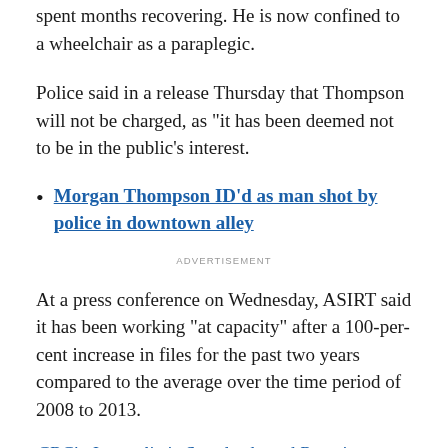spent months recovering. He is now confined to a wheelchair as a paraplegic.
Police said in a release Thursday that Thompson will not be charged, as "it has been deemed not to be in the public's interest.
Morgan Thompson ID'd as man shot by police in downtown alley
ADVERTISEMENT
At a press conference on Wednesday, ASIRT said it has been working "at capacity" after a 100-per-cent increase in files for the past two years compared to the average over the time period of 2008 to 2013.
CBC's Journalistic Standards and Practices · About